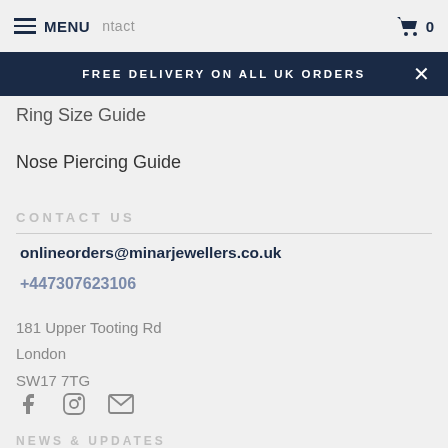MENU | Contact | 0
FREE DELIVERY ON ALL UK ORDERS
Ring Size Guide
Nose Piercing Guide
CONTACT US
onlineorders@minarjewellers.co.uk
+447307623106
181 Upper Tooting Rd
London
SW17 7TG
NEWS & UPDATES